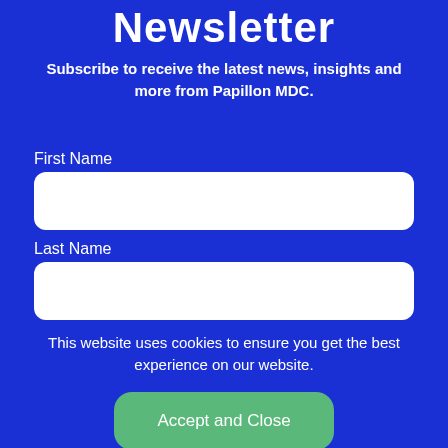Newsletter
Subscribe to receive the latest news, insights and more from Papillon MDC.
First Name
Last Name
This website uses cookies to ensure you get the best experience on our website.
Accept and Close